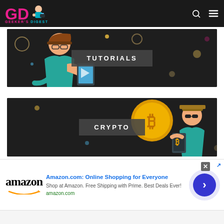GEEKER'S DIGEST
[Figure (illustration): Tutorials category banner: dark background with illustrated person looking at a phone/tablet, with decorative circles. Center label reads TUTORIALS.]
[Figure (illustration): Crypto category banner: dark background with Bitcoin coin graphic and illustrated person holding a phone. Center label reads CRYPTO.]
[Figure (illustration): Amazon advertisement banner: Amazon logo on left, title 'Amazon.com: Online Shopping for Everyone', body text 'Shop at Amazon. Free Shipping with Prime. Best Deals Ever!', URL 'amazon.com', blue arrow CTA button on right. Infolinks badge visible above banner.]